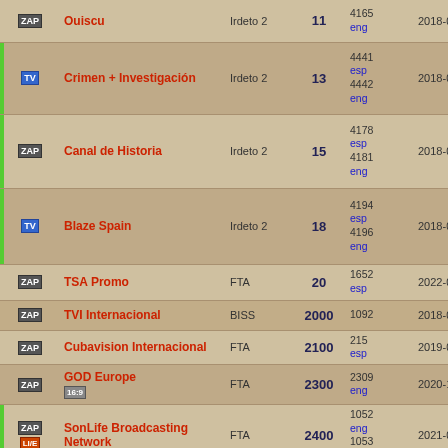| Icon | Name | Encryption | SID | PIDs | Date |
| --- | --- | --- | --- | --- | --- |
| ZAP | Ouiscu | Irdeto 2 | 11 | 4165 eng | 2018-08-07 + |
| TV | Crimen + Investigación | Irdeto 2 | 13 | 4441 esp 4442 eng | 2018-08-07 + |
| ZAP | Canal de Historia | Irdeto 2 | 15 | 4178 esp 4181 eng | 2018-08-07 + |
| TV | Blaze Spain | Irdeto 2 | 18 | 4194 esp 4196 eng | 2018-08-07 + |
| ZAP | TSA Promo | FTA | 20 | 1652 esp | 2022-04-26 + |
| ZAP | TVI Internacional | BISS | 2000 | 1092 | 2018-08-07 + |
| ZAP | Cubavision Internacional | FTA | 2100 | 215 esp | 2019-04-13 + |
| ZAP | GOD Europe 16:9 | FTA | 2300 | 2309 eng | 2020-12-12 + |
| ZAP + LIVE | SonLife Broadcasting Network | FTA | 2400 | 1052 eng 1053 esp | 2021-05-06 + |
| ZAP | TV Record HD | FTA | 2500 | 8102 por | 2018-08-07 + |
| ZAP | Record News | FTA | 2700 | 113 por | 2018-08-07 + |
| TV | RTP 3 | BISS | 2800 | 2202 por | 2021-03-27 + |